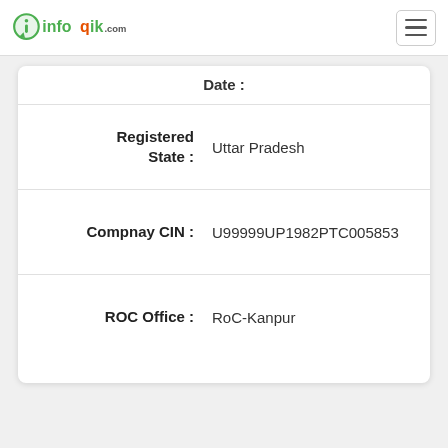infoqik.com
| Field | Value |
| --- | --- |
| Registered State : | Uttar Pradesh |
| Compnay CIN : | U99999UP1982PTC005853 |
| ROC Office : | RoC-Kanpur |